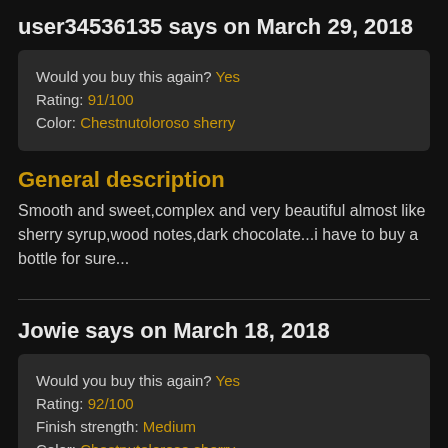user34536135 says on March 29, 2018
| Would you buy this again? | Yes |
| Rating: | 91/100 |
| Color: | Chestnutoloroso sherry |
General description
Smooth and sweet,complex and very beautiful almost like sherry syrup,wood notes,dark chocolate...i have to buy a bottle for sure...
Jowie says on March 18, 2018
| Would you buy this again? | Yes |
| Rating: | 92/100 |
| Finish strength: | Medium |
| Color: | Chestnutoloroso sherry |